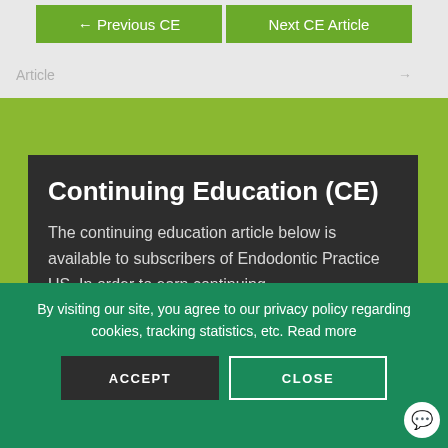← Previous CE | Next CE Article
Article →
Continuing Education (CE)
The continuing education article below is available to subscribers of Endodontic Practice US. In order to earn continuing
By visiting our site, you agree to our privacy policy regarding cookies, tracking statistics, etc. Read more